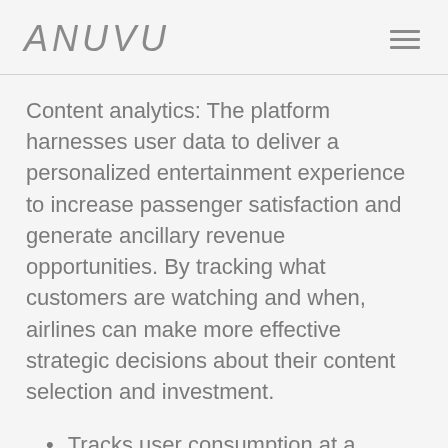ANUVU
Content analytics: The platform harnesses user data to deliver a personalized entertainment experience to increase passenger satisfaction and generate ancillary revenue opportunities. By tracking what customers are watching and when, airlines can make more effective strategic decisions about their content selection and investment.
Tracks user consumption at a granular level
Flexible system agnostic